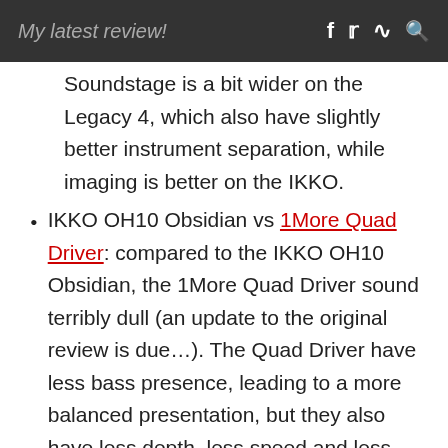My latest review!
Soundstage is a bit wider on the Legacy 4, which also have slightly better instrument separation, while imaging is better on the IKKO.
IKKO OH10 Obsidian vs 1More Quad Driver: compared to the IKKO OH10 Obsidian, the 1More Quad Driver sound terribly dull (an update to the original review is due…). The Quad Driver have less bass presence, leading to a more balanced presentation, but they also have less depth, less speed and less detail. Midrange is a bit weird to compare, in the sense that the Quad Driver are much more balanced and less aggressive, but they still sound a bit recessed and muffled; detail is slightly better, but there's less speed. Treble is, despite its aforementioned flaws, better on the OH10: it is much more extended, more present (too much, as I've said)